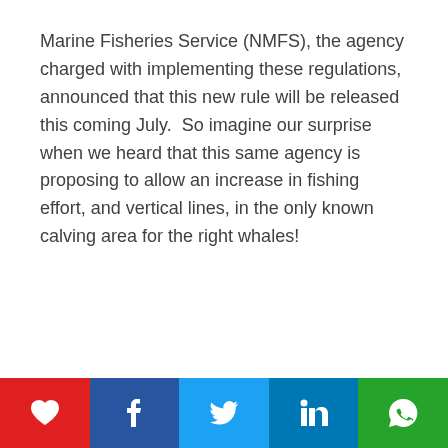Marine Fisheries Service (NMFS), the agency charged with implementing these regulations, announced that this new rule will be released this coming July.  So imagine our surprise when we heard that this same agency is proposing to allow an increase in fishing effort, and vertical lines, in the only known calving area for the right whales!
[Figure (infographic): Social sharing bar with five buttons: heart/like (red), Facebook (dark blue), Twitter (light blue), LinkedIn (blue), WhatsApp (green)]